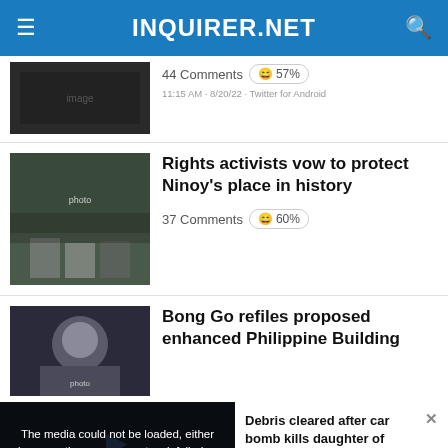INQUIRER.NET
44 Comments 😄 57%
11:15 AM · 8/20/22 · Twitter for Android
Rights activists vow to protect Ninoy's place in history
37 Comments 😄 60%
Bong Go refiles proposed enhanced Philippine Building
The media could not be loaded, either because the server or network failed or because the format is not supported.
Debris cleared after car bomb kills daughter of hardline Kremlin ideologue
DEBRIS CLEARED AFTER CAR BOMB KILLS DAUGHTER OF HARDLINE KREMLIN IDEOLOGUE